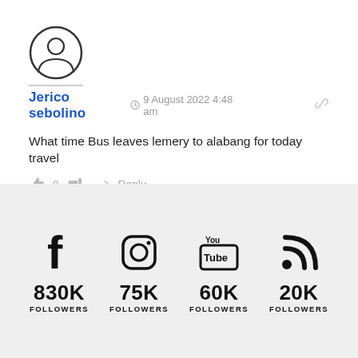[Figure (illustration): Generic user avatar circle icon with person silhouette]
Jerico sebolino  9 August 2022 4:48 am
What time Bus leaves lemery to alabang for today travel
👍 0 👎  Reply
[Figure (infographic): Social media followers banner showing Facebook 830K followers, Instagram 75K followers, YouTube 60K followers, RSS/Feed 20K followers on a light grey background]